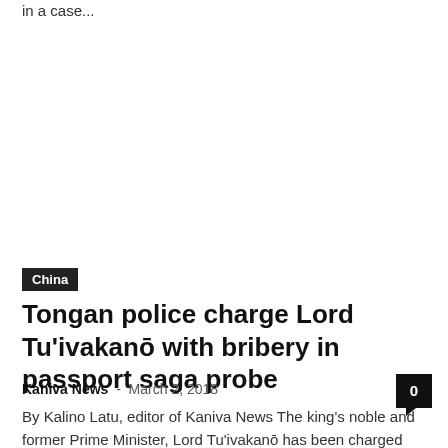in a case...
China
Tongan police charge Lord Tu'ivakanō with bribery in passport saga probe
Kaniva News  -  March 2, 2018
By Kalino Latu, editor of Kaniva News The king's noble and former Prime Minister, Lord Tu'ivakanō has been charged with passport offences, money laundering and...